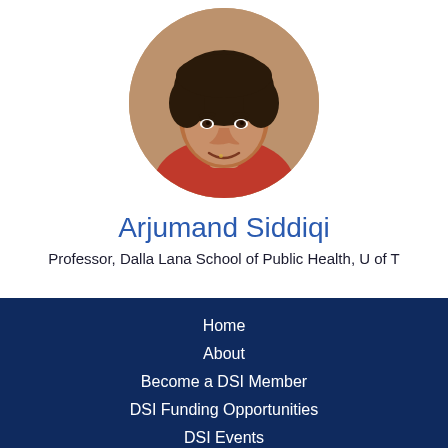[Figure (photo): Circular portrait photo of Arjumand Siddiqi, a woman with curly dark hair wearing a red top, smiling]
Arjumand Siddiqi
Professor, Dalla Lana School of Public Health, U of T
Home
About
Become a DSI Member
DSI Funding Opportunities
DSI Events